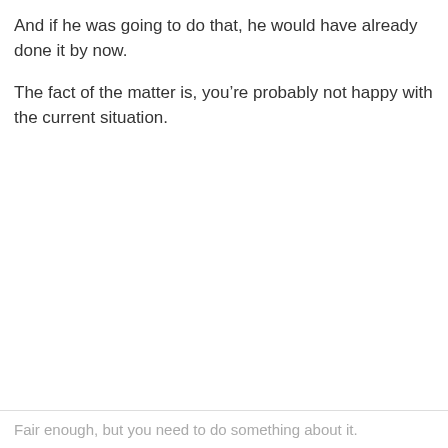And if he was going to do that, he would have already done it by now.
The fact of the matter is, you’re probably not happy with the current situation.
Fair enough, but you need to do something about it.